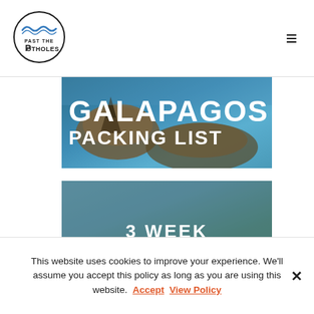[Figure (logo): Past the Potholes logo — circular badge with wave and text 'PAST THE POTHOLES']
[Figure (photo): Galapagos landscape photo with text overlay reading 'GALAPAGOS PACKING LIST']
[Figure (photo): Colombia aerial landscape photo with text overlay reading '3 WEEK COLOMBIA ITINERARY']
This website uses cookies to improve your experience. We'll assume you accept this policy as long as you are using this website. Accept View Policy